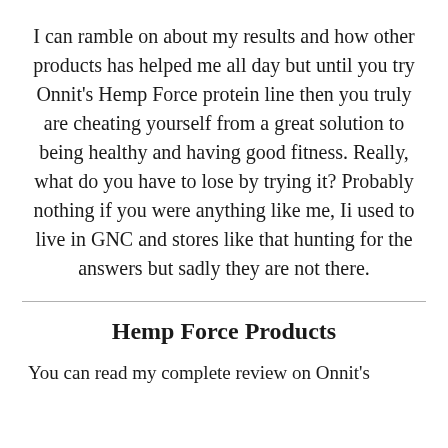I can ramble on about my results and how other products has helped me all day but until you try Onnit's Hemp Force protein line then you truly are cheating yourself from a great solution to being healthy and having good fitness. Really, what do you have to lose by trying it? Probably nothing if you were anything like me, Ii used to live in GNC and stores like that hunting for the answers but sadly they are not there.
Hemp Force Products
You can read my complete review on Onnit's